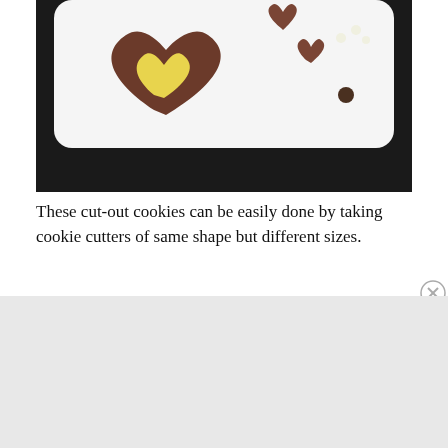[Figure (photo): Overhead photo of heart-shaped cut-out cookies on a white rectangular plate placed on a dark black surface. One large heart cookie has yellow icing, smaller cookies nearby, and small round decorations.]
These cut-out cookies can be easily done by taking cookie cutters of same shape but different sizes.
Advertisements
[Figure (screenshot): DuckDuckGo advertisement banner. Orange background with white bold text: 'Search, browse, and email with more privacy.' White rounded button with orange text: 'All in One Free App'. On the right, a dark smartphone mockup showing the DuckDuckGo app logo and branding 'DuckDuckGo.' at the bottom.]